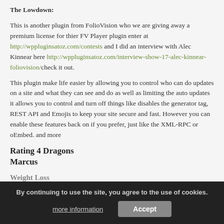The Lowdown:
This is another plugin from FolioVision who we are giving away a premium license for thier FV Player plugin enter at http://wppluginsatoz.com/contests and I did an interview with Alec Kinnear here http://wppluginsatoz.com/interview-show-17-alec-kinnear-foliovision/ check it out.

This plugin make life easier by allowing you to control who can do updates on a site and what they can see and do as well as limiting the auto updates it allows you to control and turn off things like disables the generator tag, REST API and Emojis to keep your site secure and fast. However you can enable these features back on if you prefer, just like the XML-RPC or oEmbed. and more
Rating 4 Dragons
Marcus
Weight Loss
https://wordpress.org/plugins/weightloss/
By continuing to use the site, you agree to the use of cookies.